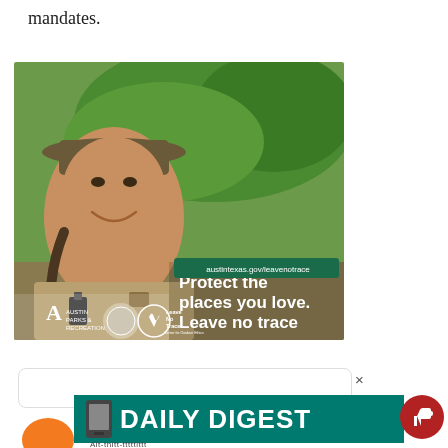mandates.
[Figure (photo): Advertisement showing a park ranger smiling, with text 'Protect the places you love. Leave no trace' and URL austintexas.gov/leavenotrace. Features Austin Parks & Recreation and Leave No Trace logos.]
Tweets from @thedailytexan
[Figure (logo): Daily Digest banner with phone icon on teal/green background]
[Figure (logo): Thumbs up icon in red circle]